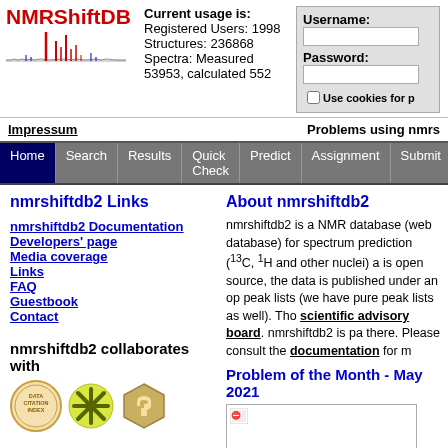[Figure (logo): NMRShiftDB logo with red text and NMR spectrum graphic]
Current usage is:
Registered Users: 1998
Structures: 236868
Spectra: Measured 53953, calculated 552
Username:
Password:
Use cookies for p
Impressum
Problems using nmrs
Home | Search | Results | Quick Check | Predict | Assignment | Submit
nmrshiftdb2 Links
About nmrshiftdb2
nmrshiftdb2 Documentation
Developers' page
Media coverage
Links
FAQ
Guestbook
Contact
nmrshiftdb2 is a NMR database (web database) for spectrum prediction (13C, 1H and other nuclei) and is open source, the data is published under an open peak lists (we have pure peak lists as well). Tho scientific advisory board. nmrshiftdb2 is pa there. Please consult the documentation for m
Problem of the Month - May 2021
[Figure (photo): Problem of the Month image placeholder]
nmrshiftdb2 collaborates with
[Figure (logo): Data Citation Index logo, Orcid/other logos]